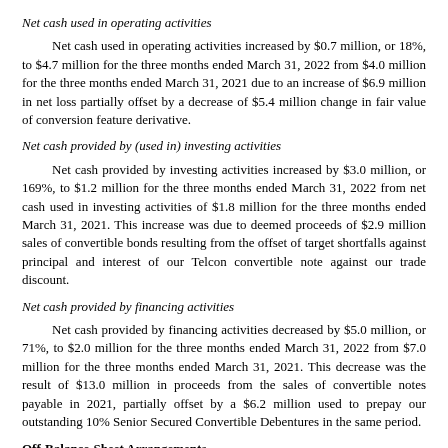Net cash used in operating activities
Net cash used in operating activities increased by $0.7 million, or 18%, to $4.7 million for the three months ended March 31, 2022 from $4.0 million for the three months ended March 31, 2021 due to an increase of $6.9 million in net loss partially offset by a decrease of $5.4 million change in fair value of conversion feature derivative.
Net cash provided by (used in) investing activities
Net cash provided by investing activities increased by $3.0 million, or 169%, to $1.2 million for the three months ended March 31, 2022 from net cash used in investing activities of $1.8 million for the three months ended March 31, 2021. This increase was due to deemed proceeds of $2.9 million sales of convertible bonds resulting from the offset of target shortfalls against principal and interest of our Telcon convertible note against our trade discount.
Net cash provided by financing activities
Net cash provided by financing activities decreased by $5.0 million, or 71%, to $2.0 million for the three months ended March 31, 2022 from $7.0 million for the three months ended March 31, 2021. This decrease was the result of $13.0 million in proceeds from the sales of convertible notes payable in 2021, partially offset by a $6.2 million used to prepay our outstanding 10% Senior Secured Convertible Debentures in the same period.
Off-Balance-Sheet Arrangements
We have no off-balance sheet arrangements.